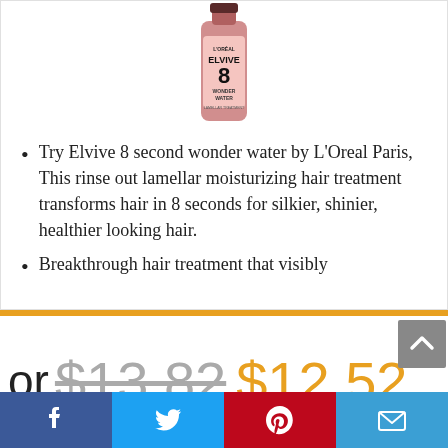[Figure (photo): L'Oreal Elvive 8 Wonder Water product bottle, pink/rose colored bottle with branded label]
Try Elvive 8 second wonder water by L'Oreal Paris, This rinse out lamellar moisturizing hair treatment transforms hair in 8 seconds for silkier, shinier, healthier looking hair.
Breakthrough hair treatment that visibly
or $13.82 $12.52
[Figure (infographic): Social sharing bar with Facebook, Twitter, Pinterest, and Email icons]